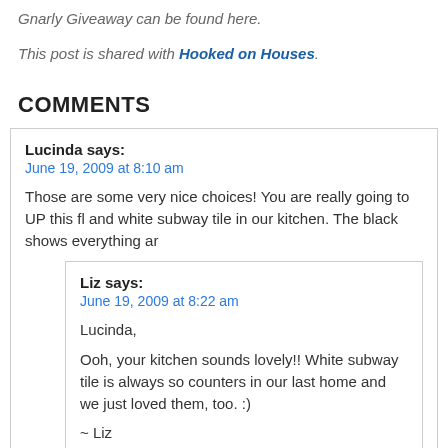Gnarly Giveaway can be found here.
This post is shared with Hooked on Houses.
COMMENTS
Lucinda says:
June 19, 2009 at 8:10 am
Those are some very nice choices! You are really going to UP this fl and white subway tile in our kitchen. The black shows everything ar
Liz says:
June 19, 2009 at 8:22 am
Lucinda,
Ooh, your kitchen sounds lovely!! White subway tile is always so counters in our last home and we just loved them, too. :)
~ Liz